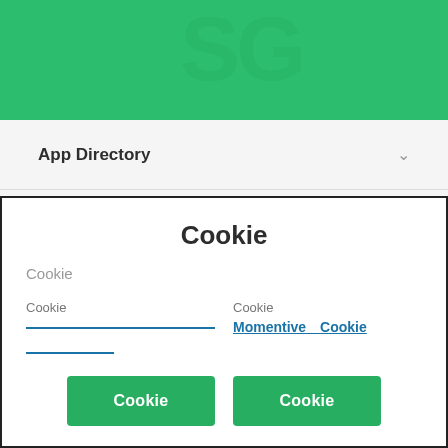[Figure (screenshot): Green header banner at the top of the page with a decorative logo/text overlay in a slightly darker green.]
App Directory
App Category
Cookie
Cookie
Cookie
Cookie
Momentive Cookie
Cookie
Cookie